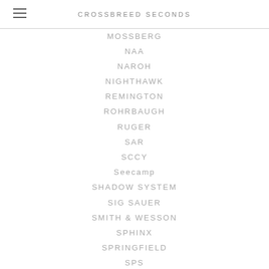CROSSBREED SECONDS
MOSSBERG
NAA
NAROH
NIGHTHAWK
REMINGTON
ROHRBAUGH
RUGER
SAR
SCCY
Seecamp
SHADOW SYSTEM
SIG SAUER
SMITH & WESSON
SPHINX
SPRINGFIELD
SPS
STEYER
STI
TAURUS